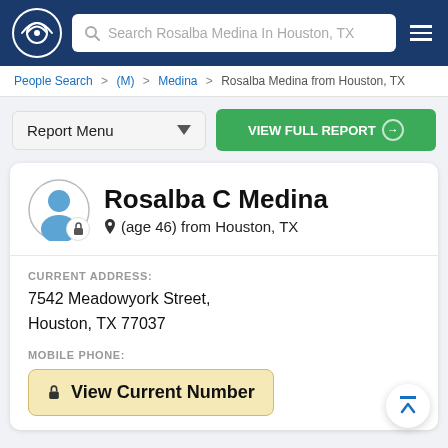Search Rosalba Medina In Houston, TX
People Search > (M) > Medina > Rosalba Medina from Houston, TX
Report Menu | VIEW FULL REPORT
Rosalba C Medina
(age 46) from Houston, TX
CURRENT ADDRESS:
7542 Meadowyork Street,
Houston, TX 77037
MOBILE PHONE:
View Current Number